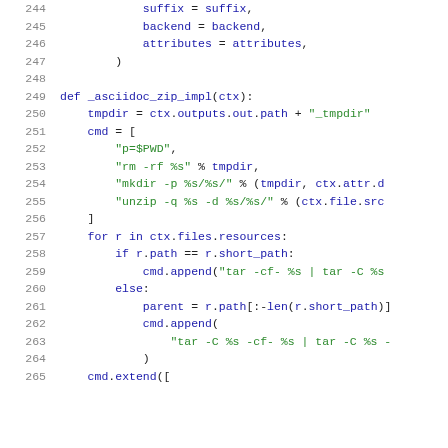Python source code lines 244-265 showing _asciidoc_zip_impl function definition with string formatting and file operations